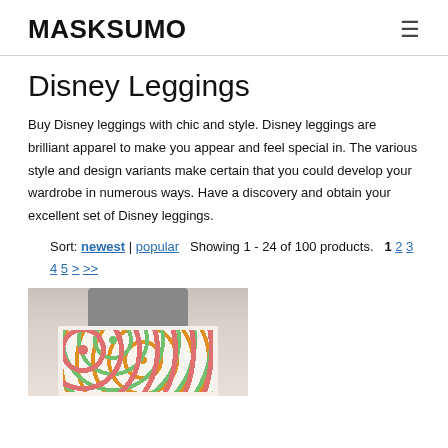MASKSUMO
Disney Leggings
Buy Disney leggings with chic and style. Disney leggings are brilliant apparel to make you appear and feel special in. The various style and design variants make certain that you could develop your wardrobe in numerous ways. Have a discovery and obtain your excellent set of Disney leggings.
Sort: newest | popular   Showing 1 - 24 of 100 products.   1 2 3 4 5 > >>
[Figure (photo): A person wearing a grey crop top and Disney-patterned leggings/skirt with colorful characters on a light background.]